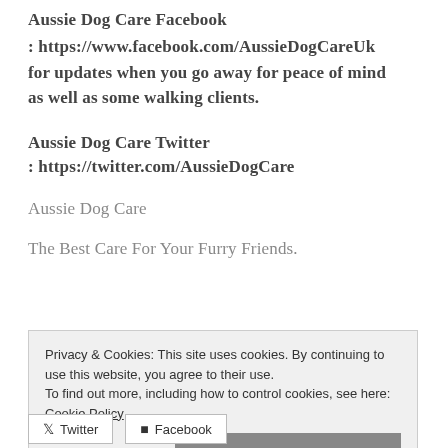Aussie Dog Care Facebook
: https://www.facebook.com/AussieDogCareUk for updates when you go away for peace of mind as well as some walking clients.
Aussie Dog Care Twitter
: https://twitter.com/AussieDogCare
Aussie Dog Care
The Best Care For Your Furry Friends.
Privacy & Cookies: This site uses cookies. By continuing to use this website, you agree to their use. To find out more, including how to control cookies, see here: Cookie Policy
Close and accept
Twitter  Facebook